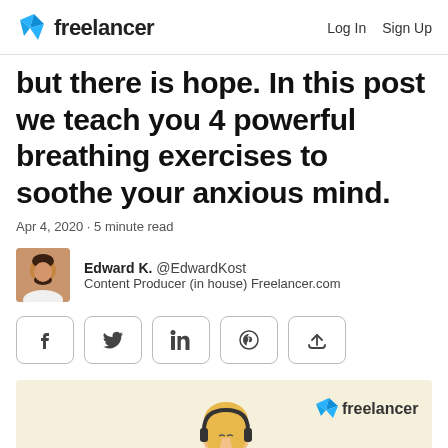freelancer  Log In  Sign Up
but there is hope. In this post we teach you 4 powerful breathing exercises to soothe your anxious mind.
Apr 4, 2020 · 5 minute read
[Figure (photo): Author avatar photo of Edward K., a man with beard]
Edward K. @EdwardKost
Content Producer (in house) Freelancer.com
[Figure (infographic): Social share buttons row: Facebook, Twitter, LinkedIn, Pinterest, and a share icon]
[Figure (illustration): Illustrated banner on cream/yellow background showing a person with headphones and Freelancer logo]